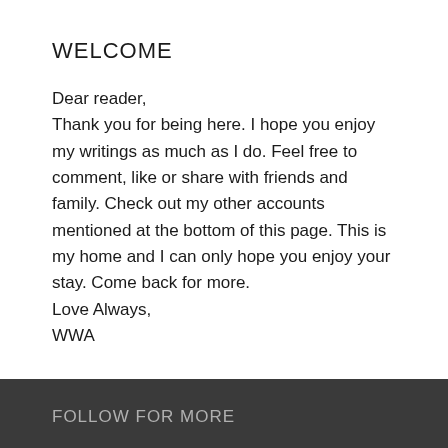WELCOME
Dear reader,
Thank you for being here. I hope you enjoy my writings as much as I do. Feel free to comment, like or share with friends and family. Check out my other accounts mentioned at the bottom of this page. This is my home and I can only hope you enjoy your stay. Come back for more.
Love Always,
WWA
FOLLOW FOR MORE
Twitter: @Wamkaziwaafrika Instagram: